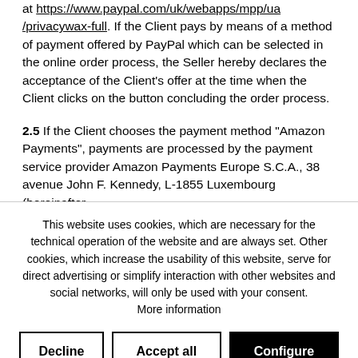at https://www.paypal.com/uk/webapps/mpp/ua/privacywax-full. If the Client pays by means of a method of payment offered by PayPal which can be selected in the online order process, the Seller hereby declares the acceptance of the Client's offer at the time when the Client clicks on the button concluding the order process.
2.5 If the Client chooses the payment method "Amazon Payments", payments are processed by the payment service provider Amazon Payments Europe S.C.A., 38 avenue John F. Kennedy, L-1855 Luxembourg (hereinafter
This website uses cookies, which are necessary for the technical operation of the website and are always set. Other cookies, which increase the usability of this website, serve for direct advertising or simplify interaction with other websites and social networks, will only be used with your consent. More information